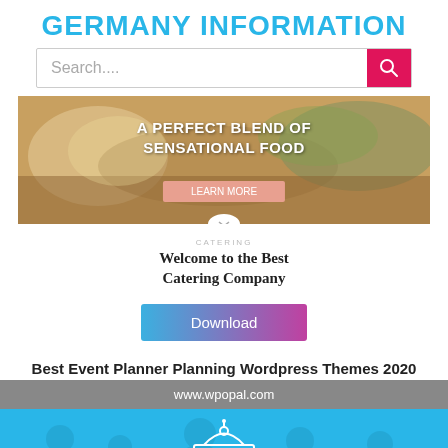GERMANY INFORMATION
[Figure (screenshot): Search bar with text 'Search....' and a magenta search button with magnifier icon]
[Figure (photo): Hero banner image of food (sandwich/baked item) with overlay text 'A PERFECT BLEND OF SENSATIONAL FOOD' and a salmon-colored button]
Welcome to the Best Catering Company
[Figure (screenshot): Download button with blue-to-pink gradient]
Best Event Planner Planning Wordpress Themes 2020
www.wpopal.com
[Figure (screenshot): Blue banner section with a white catering/food service icon (dome with stack of trays)]